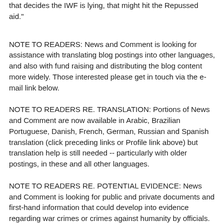that decides the IWF is lying, that might hit the Repussed aid."
NOTE TO READERS: News and Comment is looking for assistance with translating blog postings into other languages, and also with fund raising and distributing the blog content more widely. Those interested please get in touch via the e-mail link below.
NOTE TO READERS RE. TRANSLATION: Portions of News and Comment are now available in Arabic, Brazilian Portuguese, Danish, French, German, Russian and Spanish translation (click preceding links or Profile link above) but translation help is still needed -- particularly with older postings, in these and all other languages.
NOTE TO READERS RE. POTENTIAL EVIDENCE: News and Comment is looking for public and private documents and first-hand information that could develop into evidence regarding war crimes or crimes against humanity by officials. Please forward material via the email link below.